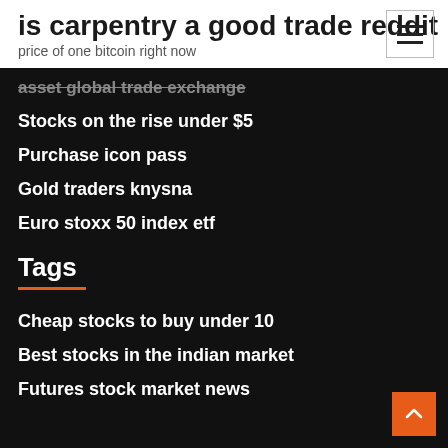is carpentry a good trade reddit
price of one bitcoin right now
asset global trade exchange
Stocks on the rise under $5
Purchase icon pass
Gold traders knysna
Euro stoxx 50 index etf
Tags
Cheap stocks to buy under 10
Best stocks in the indian market
Futures stock market news